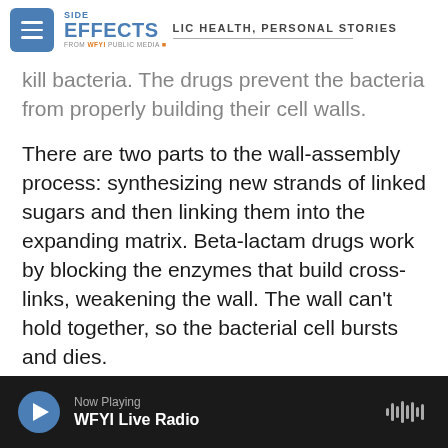SIDE EFFECTS – PUBLIC HEALTH, PERSONAL STORIES – FROM WFYI PUBLIC MEDIA
kill bacteria. The drugs prevent the bacteria from properly building their cell walls.
There are two parts to the wall-assembly process: synthesizing new strands of linked sugars and then linking them into the expanding matrix. Beta-lactam drugs work by blocking the enzymes that build cross-links, weakening the wall. The wall can't hold together, so the bacterial cell bursts and dies.
This general framework of the bacteria-penicillin battle is well known, but the molecular details were missing. What happens after blockage of the cross-
Now Playing – WFYI Live Radio